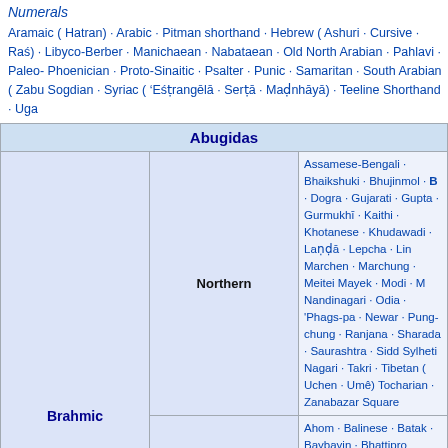Numerals
Aramaic ( Hatran) · Arabic · Pitman shorthand · Hebrew ( Ashuri · Cursive · Rashi) · Libyco-Berber · Manichaean · Nabataean · Old North Arabian · Pahlavi · Paleo-Hebrew · Phoenician · Proto-Sinaitic · Psalter · Punic · Samaritan · South Arabian ( Zabur · ) · Sogdian · Syriac ( 'Estrangēlā · Sertā · Madnhāyā) · Teeline Shorthand · Ugaritic
| Abugidas |
| --- |
| Brahmic | Northern | Assamese-Bengali · Bhaikshuki · Bhujinmol · B... · Dogra · Gujarati · Gupta · Gurmukhī · Kaithi · Khotanese · Khudawadi · Laṇḍā · Lepcha · Limbu · Marchen · Marchung · Meitei Mayek · Modi · M... Nandinagari · Odia · 'Phags-pa · Newar · Pung-chung · Ranjana · Sharada · Saurashtra · Sidd... Sylheti Nagari · Takri · Tibetan ( Uchen · Umê) · Tocharian · Zanabazar Square |
| Brahmic | Southern | Ahom · Balinese · Batak · Baybayin · Bhattipro... Burmese · Chakma · Cham · Grantha · Goyka... Javanese · Kadamba · Kannada · Kawi · Khme... Lao · Leke · Lontara · Malayalam · Maldivian (... Eveyla Akuru) · Mon · Old Sundanese · Pallava · Rencong · Sinhala · Sundanese · Tagbanwa · ... Tai Viet · Tamil · Telugu · Thai · Tigalari · Vattel... Malayanma) · Visayan |
|  |  | Boyd's syllabic shorthand · Canadian syllabics (Blackfoot · De... |